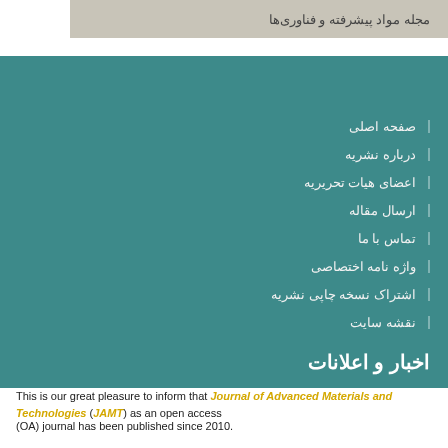مجله مواد پیشرفته و فناوری‌ها
صفحه اصلی
درباره نشریه
اعضای هیات تحریریه
ارسال مقاله
تماس با ما
واژه نامه اختصاصی
اشتراک نسخه چاپی نشریه
نقشه سایت
اخبار و اعلانات
This is our great pleasure to inform that Journal of Advanced Materials and Technologies (JAMT) as an open access (OA) journal has been published since 2010.